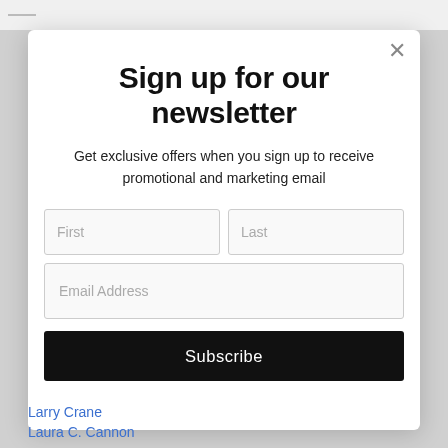Sign up for our newsletter
Get exclusive offers when you sign up to receive promotional and marketing email
First
Last
Email Address
Subscribe
Larry Crane
Laura C. Cannon